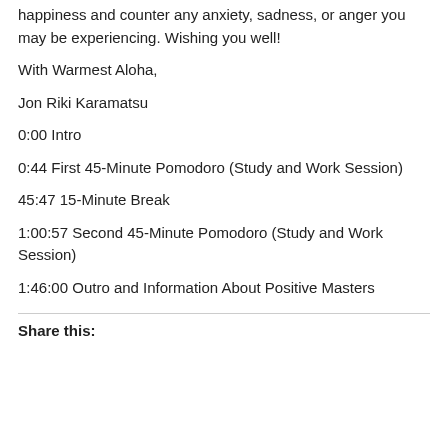happiness and counter any anxiety, sadness, or anger you may be experiencing. Wishing you well!
With Warmest Aloha,
Jon Riki Karamatsu
0:00 Intro
0:44 First 45-Minute Pomodoro (Study and Work Session)
45:47 15-Minute Break
1:00:57 Second 45-Minute Pomodoro (Study and Work Session)
1:46:00 Outro and Information About Positive Masters
Share this: